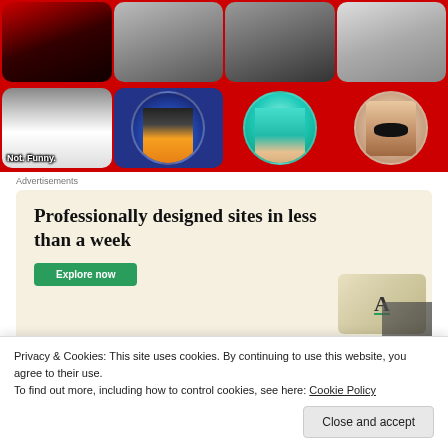[Figure (screenshot): Grid of anime/cartoon avatar thumbnails on red background with rounded cells. Bottom-left cell shows white-haired anime character with 'Not. Funny.' text overlay. Row 2 includes: circle avatar of Goku (Dragon Ball), teal-haired anime girl, and screaming cartoon face.]
Advertisements
[Figure (screenshot): Advertisement banner with beige/cream background. Headline: 'Professionally designed sites in less than a week'. Green button partially visible at bottom. Website template mockup image on the right.]
Privacy & Cookies: This site uses cookies. By continuing to use this website, you agree to their use.
To find out more, including how to control cookies, see here: Cookie Policy
Close and accept